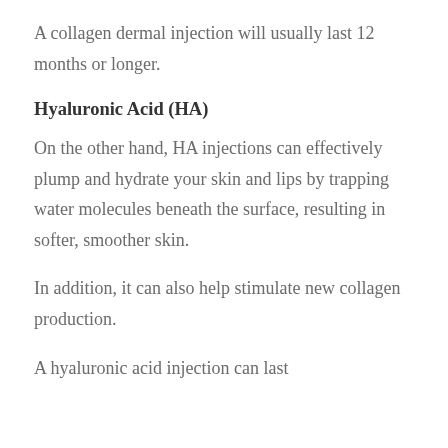A collagen dermal injection will usually last 12 months or longer.
Hyaluronic Acid (HA)
On the other hand, HA injections can effectively plump and hydrate your skin and lips by trapping water molecules beneath the surface, resulting in softer, smoother skin.
In addition, it can also help stimulate new collagen production.
A hyaluronic acid injection can last